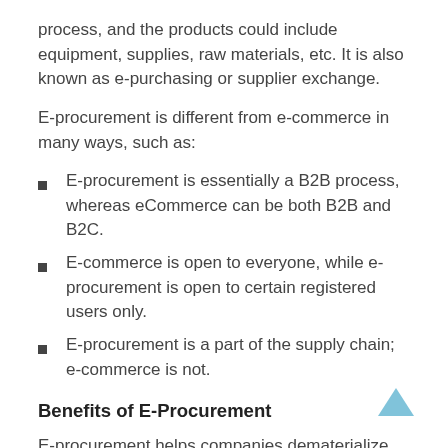process, and the products could include equipment, supplies, raw materials, etc. It is also known as e-purchasing or supplier exchange.
E-procurement is different from e-commerce in many ways, such as:
E-procurement is essentially a B2B process, whereas eCommerce can be both B2B and B2C.
E-commerce is open to everyone, while e-procurement is open to certain registered users only.
E-procurement is a part of the supply chain; e-commerce is not.
Benefits of E-Procurement
E-procurement helps companies dematerialize commercial transactions between businesses and